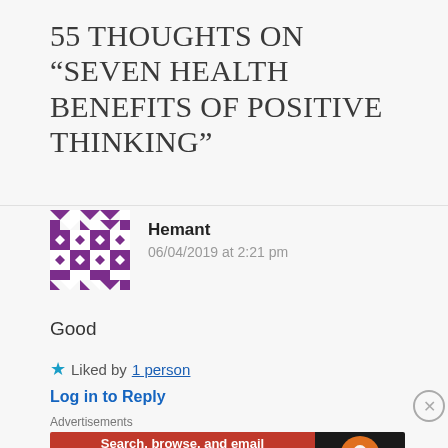55 THOUGHTS ON “SEVEN HEALTH BENEFITS OF POSITIVE THINKING”
[Figure (illustration): Purple geometric avatar icon for user Hemant]
Hemant
06/04/2019 at 2:21 pm
Good
★ Liked by 1 person
Log in to Reply
Advertisements
[Figure (screenshot): DuckDuckGo advertisement banner: Search, browse, and email with more privacy. All in One Free App]